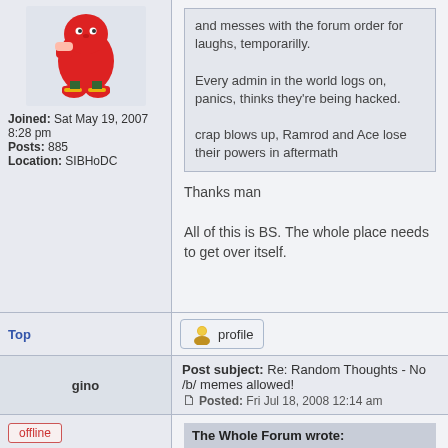[Figure (illustration): Knuckles character avatar from Sonic series]
Joined: Sat May 19, 2007 8:28 pm
Posts: 885
Location: SIBHoDC
and messes with the forum order for laughs, temporarilly.

Every admin in the world logs on, panics, thinks they're being hacked.

crap blows up, Ramrod and Ace lose their powers in aftermath
Thanks man

All of this is BS. The whole place needs to get over itself.
Top
[Figure (screenshot): Profile button with user icon]
gino
Post subject: Re: Random Thoughts - No /b/ memes allowed!
Posted: Fri Jul 18, 2008 12:14 am
offline
[Figure (photo): Red avatar image]
The Whole Forum wrote: